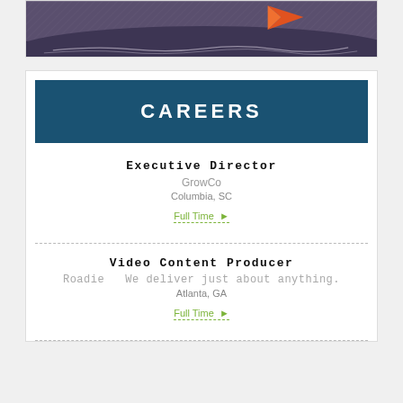[Figure (illustration): Partial illustration showing a dark landscape with purple/grey sky and an orange flame or flag shape against a dark background]
CAREERS
Executive Director
GrowCo
Columbia, SC
Full Time ▸
Video Content Producer
Roadie   We deliver just about anything.
Atlanta, GA
Full Time ▸